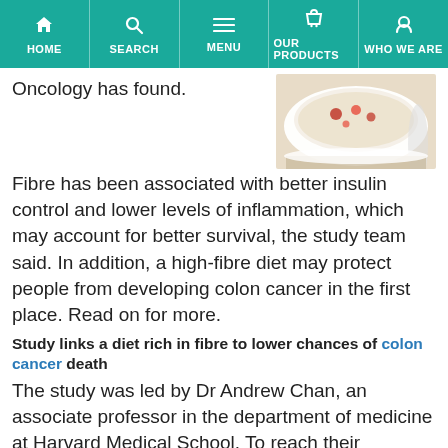HOME | SEARCH | MENU | OUR PRODUCTS | WHO WE ARE
Oncology has found.
[Figure (photo): A white bowl of oatmeal or porridge with red berries (raspberries or strawberries) on top, served on a white plate with a spoon, suggesting a healthy high-fibre meal.]
Fibre has been associated with better insulin control and lower levels of inflammation, which may account for better survival, the study team said. In addition, a high-fibre diet may protect people from developing colon cancer in the first place. Read on for more.
Study links a diet rich in fibre to lower chances of colon cancer death
The study was led by Dr Andrew Chan, an associate professor in the department of medicine at Harvard Medical School. To reach their findings, Dr Chan and his team collected data on 1,575 men and women who took part in the Nurses' Health Study and Health Professionals Follow-up Study. None of the participants had been treated